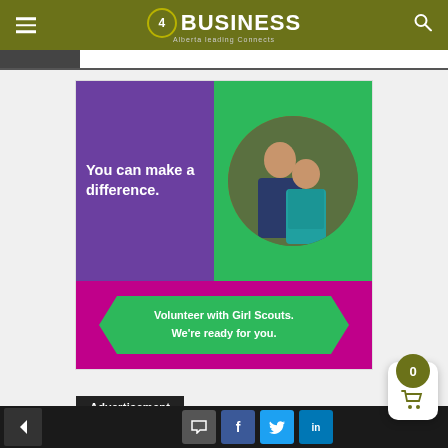4BUSINESS - Alberta leading Connects
[Figure (illustration): Girl Scouts volunteer advertisement. Purple left panel with white text 'You can make a difference.' Green right panel with circular photo of adult female leader and girl scout in teal vest. Below, magenta band with green pentagon/arrow-shaped banner reading 'Volunteer with Girl Scouts. We're ready for you.']
Advertisement
Navigation bar with back button, comment, Facebook, Twitter, LinkedIn social share buttons, and shopping cart with badge 0